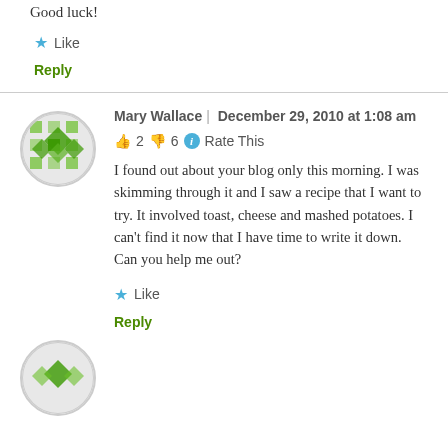Good luck!
★ Like
Reply
Mary Wallace | December 29, 2010 at 1:08 am
👍 2 👎 6 ℹ Rate This
I found out about your blog only this morning. I was skimming through it and I saw a recipe that I want to try. It involved toast, cheese and mashed potatoes. I can't find it now that I have time to write it down. Can you help me out?
★ Like
Reply